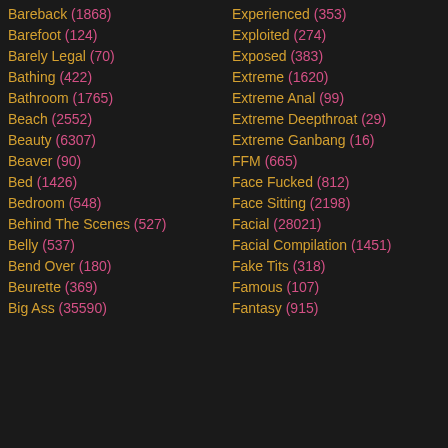Bareback (1868)
Barefoot (124)
Barely Legal (70)
Bathing (422)
Bathroom (1765)
Beach (2552)
Beauty (6307)
Beaver (90)
Bed (1426)
Bedroom (548)
Behind The Scenes (527)
Belly (537)
Bend Over (180)
Beurette (369)
Big Ass (35590)
Experienced (353)
Exploited (274)
Exposed (383)
Extreme (1620)
Extreme Anal (99)
Extreme Deepthroat (29)
Extreme Ganbang (16)
FFM (665)
Face Fucked (812)
Face Sitting (2198)
Facial (28021)
Facial Compilation (1451)
Fake Tits (318)
Famous (107)
Fantasy (915)